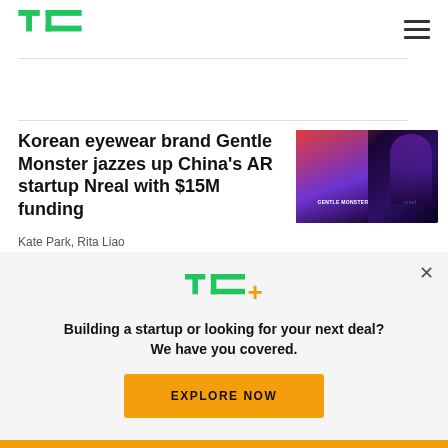TechCrunch logo and navigation
Korean eyewear brand Gentle Monster jazzes up China's AR startup Nreal with $15M funding
[Figure (photo): Gentle Monster and Nreal collaboration promotional image showing a figure wearing AR glasses with purple/blue lighting]
Kate Park, Rita Liao
[Figure (infographic): TC+ subscription popup overlay with logo, tagline 'Building a startup or looking for your next deal? We have you covered.' and yellow EXPLORE NOW button]